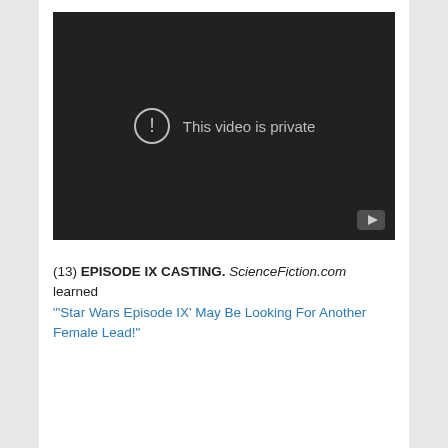[Figure (screenshot): YouTube video embed showing 'This video is private' error message with a circle exclamation icon on a dark background, and a YouTube logo button in the bottom right corner.]
(13) EPISODE IX CASTING. ScienceFiction.com learned "'Star Wars Episode IX' May Be Looking For Another Female Lead!"